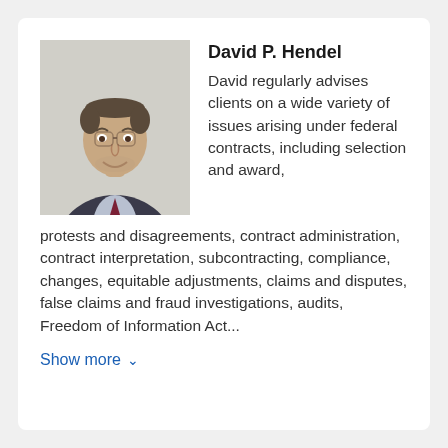[Figure (photo): Headshot photo of David P. Hendel, a middle-aged man in a dark suit with a red tie, smiling, against a light background.]
David P. Hendel
David regularly advises clients on a wide variety of issues arising under federal contracts, including selection and award, protests and disagreements, contract administration, contract interpretation, subcontracting, compliance, changes, equitable adjustments, claims and disputes, false claims and fraud investigations, audits, Freedom of Information Act...
Show more ∨